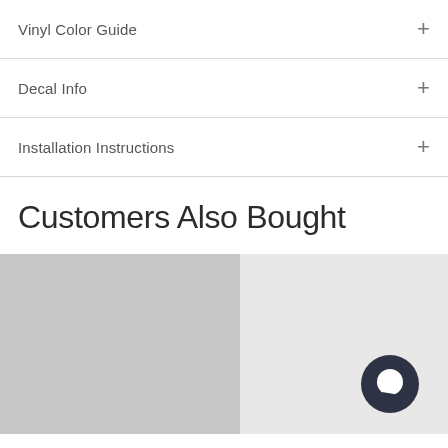Vinyl Color Guide
Decal Info
Installation Instructions
Customers Also Bought
[Figure (photo): Two product image placeholders side by side; left is medium gray, right is light gray with a dark circular chat icon in the lower right corner]